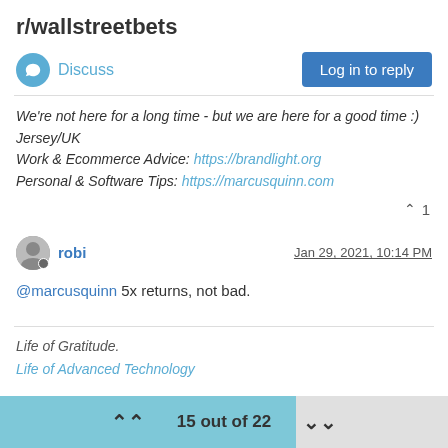r/wallstreetbets
Discuss
Log in to reply
We're not here for a long time - but we are here for a good time :)
Jersey/UK
Work & Ecommerce Advice: https://brandlight.org
Personal & Software Tips: https://marcusquinn.com
robi
Jan 29, 2021, 10:14 PM
@marcusquinn 5x returns, not bad.
Life of Gratitude.
Life of Advanced Technology
15 out of 22